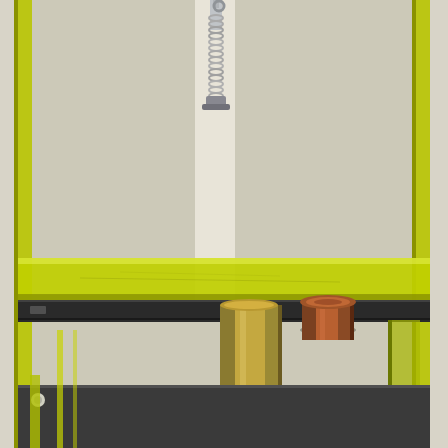[Figure (photo): Close-up photograph of a laboratory or engineering apparatus. A yellow-green transparent acrylic or glass plate is visible horizontally across the middle of the frame. Below the plate, a large vertical gold/brass-colored cylindrical rod extends downward, and next to it is a smaller copper/bronze-colored cylindrical slug or plug sitting on a dark metal support surface. Above the plate, a chrome-finished coiled spring mechanism with a hook or fixture hangs from above. The background shows a white wall and some structural framing elements in yellow-green. The overall setup appears to be a compression or materials testing fixture.]